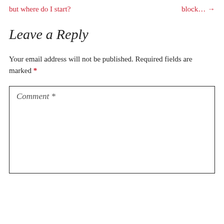but where do I start?    block… →
Leave a Reply
Your email address will not be published. Required fields are marked *
Comment *